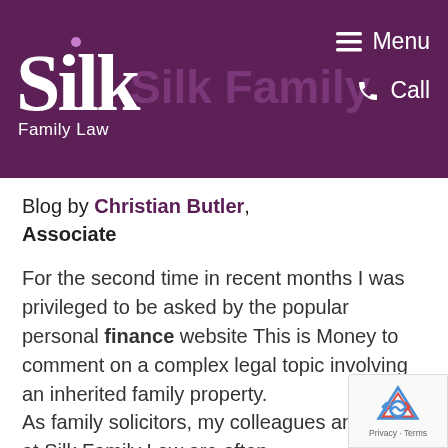[Figure (logo): Silk Family Law logo — white serif 'Silk' text with small purple dot, 'Family Law' subtitle, on dark purple (#5c2057) background header with Menu and Call navigation items]
Blog by Christian Butler, Associate
For the second time in recent months I was privileged to be asked by the popular personal finance website This is Money to comment on a complex legal topic involving an inherited family property.
As family solicitors, my colleagues and I at Silk Family Law are often